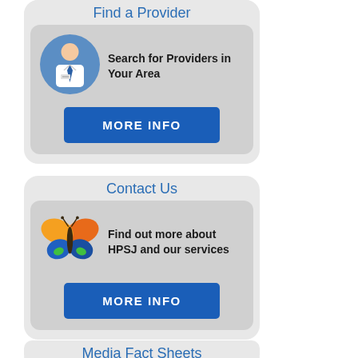Find a Provider
Search for Providers in Your Area
[Figure (illustration): Blue circle with doctor/provider icon (male figure in white coat with blue tie)]
MORE INFO
Contact Us
Find out more about HPSJ and our services
[Figure (illustration): Colorful butterfly logo with orange/red upper wings and blue lower wings with green accent]
MORE INFO
Media Fact Sheets